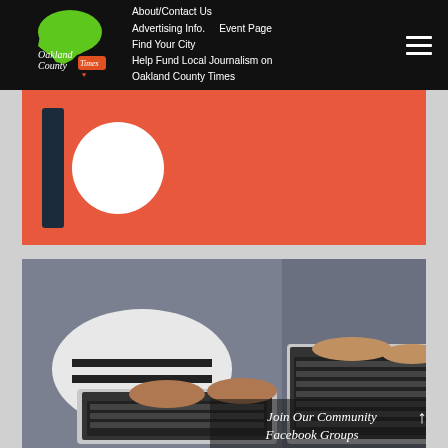[Figure (logo): Oakland County Times logo with green Michigan state outline and red 'Times' text]
About/Contact Us
Advertising Info.     Event Page
Find Your City
Help Fund Local Journalism on Oakland County Times
[Figure (logo): Patreon logo - dark vertical bar and white circle on coral/orange-red background]
[Figure (photo): Two people typing on laptops, viewed from above, with 'Join Our Community Facebook Groups' overlay text]